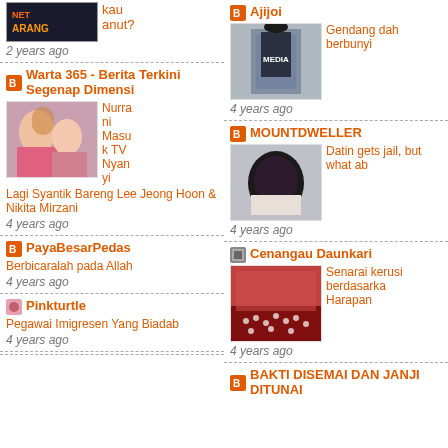kau anut? 2 years ago
Warta 365 - Berita Terkini Segenap Dimensi
Nurrani Masuk TV Nyanyi Lagi Syantik Bareng Lee Jeong Hoon & Nikita Mirzani
4 years ago
PayaBesarPedas
Berbicaralah pada Allah
4 years ago
Pinkturtle
Pegawai Imigresen Yang Biadab
4 years ago
Ajijoi
Gendang dah berbunyi
4 years ago
MOUNTDWELLER
Datin gets jail, but what ab
4 years ago
Cenangau Daunkari
Senarai kerusi berdasarka Harapan
4 years ago
BAKTI DISEMAI DAN JANJI DITUNAI